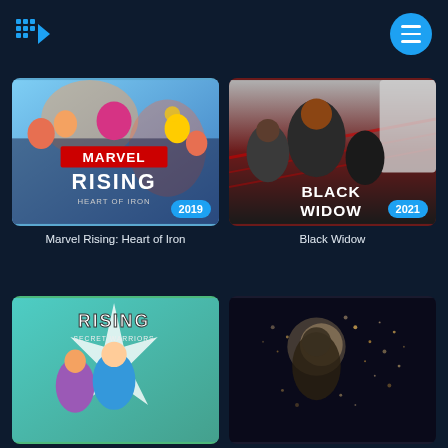[Figure (screenshot): App header with streaming service logo (dots + play arrow) on left and circular blue hamburger menu button on right, on dark navy background]
[Figure (photo): Marvel Rising: Heart of Iron animated movie poster with year badge 2019]
Marvel Rising: Heart of Iron
[Figure (photo): Black Widow movie poster with year badge 2021]
Black Widow
[Figure (photo): Marvel Rising: Secret Warriors animated movie poster (partially visible)]
[Figure (photo): Dark movie poster with particle/dust effect (partially visible)]